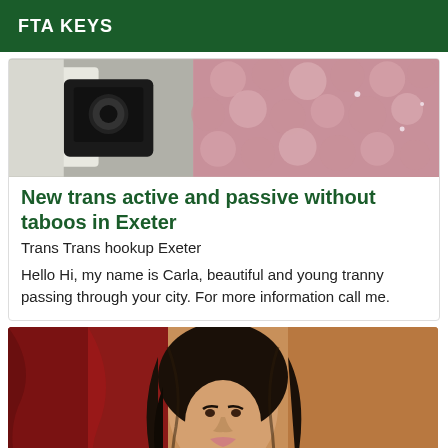FTA KEYS
[Figure (photo): Photo collage: left side shows a dark object (camera/device), right side shows pink roses background]
New trans active and passive without taboos in Exeter
Trans Trans hookup Exeter
Hello Hi, my name is Carla, beautiful and young tranny passing through your city. For more information call me.
[Figure (photo): Portrait photo of a woman with long dark hair, red fabric on left, tan/beige background on right]